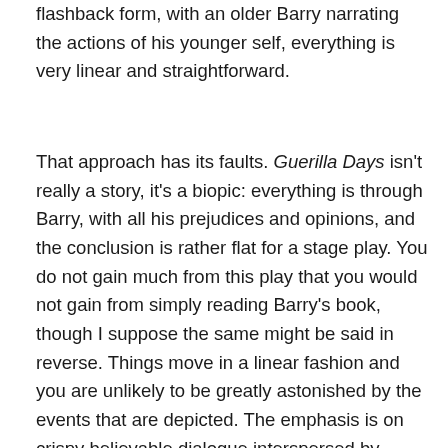flashback form, with an older Barry narrating the actions of his younger self, everything is very linear and straightforward.
That approach has its faults. Guerilla Days isn't really a story, it's a biopic: everything is through Barry, with all his prejudices and opinions, and the conclusion is rather flat for a stage play. You do not gain much from this play that you would not gain from simply reading Barry's book, though I suppose the same might be said in reverse. Things move in a linear fashion and you are unlikely to be greatly astonished by the events that are depicted. The emphasis is on crispy believable dialogue interspersed by actions scenes of a basic nature, competently done if occasionally bordering on the farcical looking. Those of a nationalist persuasion will find the tale on offer enthralling, a stirring epic of a group of underdogs smashing back the